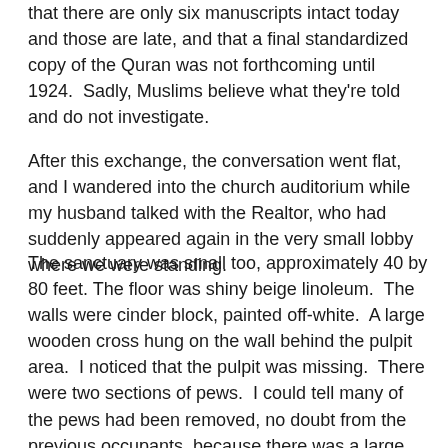that there are only six manuscripts intact today and those are late, and that a final standardized copy of the Quran was not forthcoming until 1924.  Sadly, Muslims believe what they're told and do not investigate.
After this exchange, the conversation went flat, and I wandered into the church auditorium while my husband talked with the Realtor, who had suddenly appeared again in the very small lobby where we were standing.
The sanctuary was small too, approximately 40 by 80 feet. The floor was shiny beige linoleum.  The walls were cinder block, painted off-white.  A large wooden cross hung on the wall behind the pulpit area.  I noticed that the pulpit was missing.  There were two sections of pews.  I could tell many of the pews had been removed, no doubt from the previous occupants, because there was a large empty space behind them.  On a side wall in the empty space hung a large white board on which a picture of the bowed head of a crucified, crown of thorns-wearing man was drawn in all red.  Written beside the picture